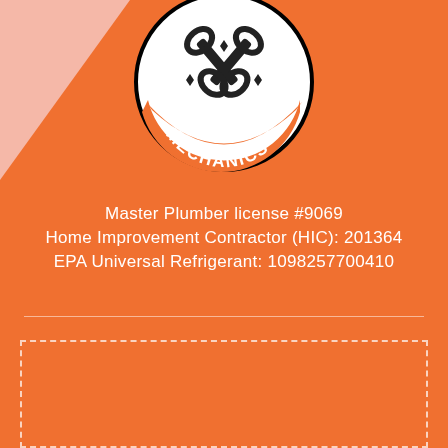[Figure (logo): House Mechanics circular logo with wrenches and orange MECHANICS band at bottom]
Master Plumber license #9069
Home Improvement Contractor (HIC): 201364
EPA Universal Refrigerant: 1098257700410
OPERATIONS
6 McMahon St
N Chelmsford MA 01863

HEADQUARTERS
733 Turnpike St #333
N Andover MA 01845